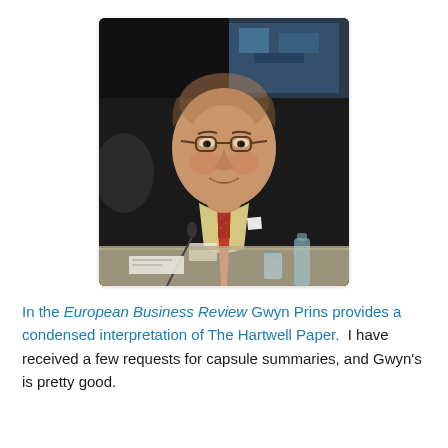[Figure (photo): A middle-aged balding man wearing glasses, a dark suit, and a red patterned tie, sitting at a conference table with a microphone, glass of water, and name card in front of him.]
In the European Business Review Gwyn Prins provides a condensed interpretation of The Hartwell Paper.  I have received a few requests for capsule summaries, and Gwyn's is pretty good.